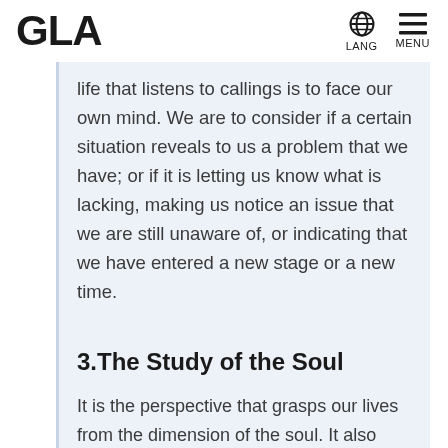GLA    LANG    MENU
life that listens to callings is to face our own mind. We are to consider if a certain situation reveals to us a problem that we have; or if it is letting us know what is lacking, making us notice an issue that we are still unaware of, or indicating that we have entered a new stage or a new time.
3.The Study of the Soul
It is the perspective that grasps our lives from the dimension of the soul. It also refers to the system of the truth, the Divine Truth that permeates every aspect of the human soul and the world. As opposed to the study of phenomena that is directed at the tangible world, the Study of the Soul is an investigation of all things, including